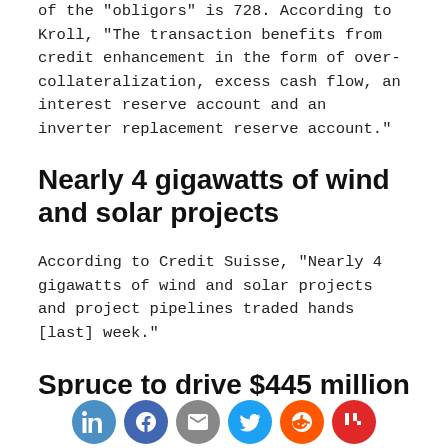of the "obligors" is 728. According to Kroll, "The transaction benefits from credit enhancement in the form of over-collateralization, excess cash flow, an interest reserve account and an inverter replacement reserve account."
Nearly 4 gigawatts of wind and solar projects
According to Credit Suisse, "Nearly 4 gigawatts of wind and solar projects and project pipelines traded hands [last] week."
Spruce to drive $445 million in residential solar
[Figure (other): Social sharing buttons: LinkedIn, Facebook, Email, Twitter, Reddit, Flipboard]